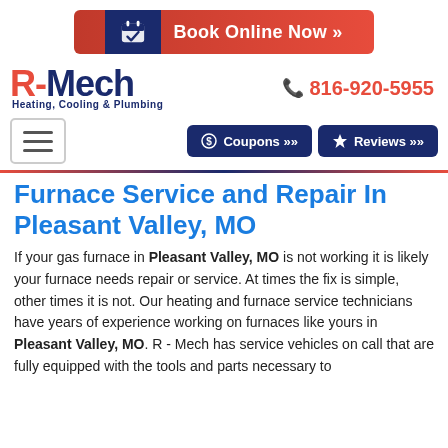[Figure (other): Book Online Now button with calendar icon and red background]
[Figure (logo): R-Mech Heating, Cooling & Plumbing logo in red and navy blue]
816-920-5955
[Figure (other): Navigation bar with hamburger menu, Coupons and Reviews buttons]
Furnace Service and Repair In Pleasant Valley, MO
If your gas furnace in Pleasant Valley, MO is not working it is likely your furnace needs repair or service. At times the fix is simple, other times it is not. Our heating and furnace service technicians have years of experience working on furnaces like yours in Pleasant Valley, MO. R - Mech has service vehicles on call that are fully equipped with the tools and parts necessary to